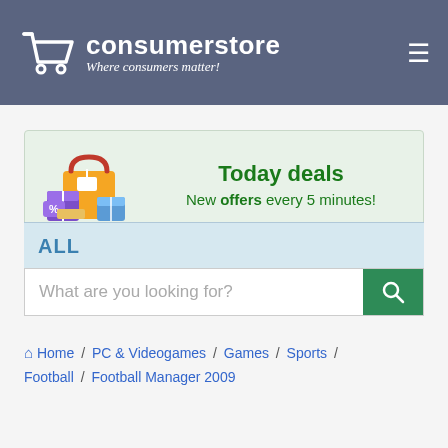consumerstore — Where consumers matter!
[Figure (infographic): Today deals banner with shopping bags illustration. Text: 'Today deals — New offers every 5 minutes!']
ALL
What are you looking for?
Home / PC & Videogames / Games / Sports / Football / Football Manager 2009